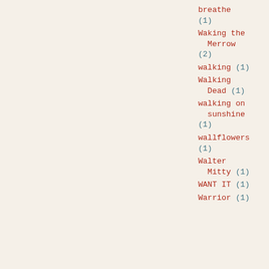breathe (1)
Waking the Merrow (2)
walking (1)
Walking Dead (1)
walking on sunshine (1)
wallflowers (1)
Walter Mitty (1)
WANT IT (1)
Warrior (1)